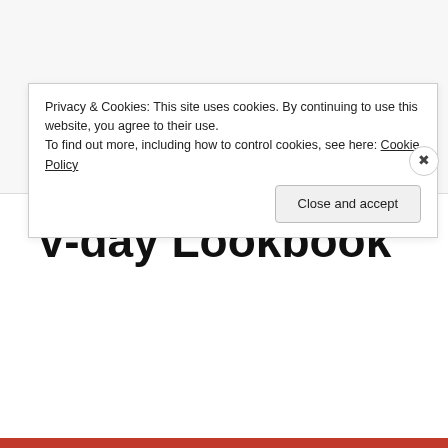February 9, 2018  Ashley Stewart, fashion outfits, forever21 plus, lane bryant, Plus size, plus size fashion, plus size fashion blog, Sexy Looks, Sexy outfits, Sweet Looks, Sweet outfits, valentines day, valentines day lookbook  2 Comments
V-day Lookbook
Privacy & Cookies: This site uses cookies. By continuing to use this website, you agree to their use.
To find out more, including how to control cookies, see here: Cookie Policy
Close and accept